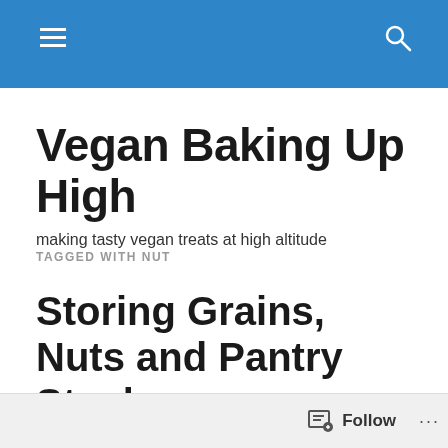Navigation bar with hamburger menu and search icon
Vegan Baking Up High
making tasty vegan treats at high altitude
TAGGED WITH NUT
Storing Grains, Nuts and Pantry Staples
[Figure (photo): Close-up photo of pantry shelves with grains and storage containers]
Follow  ...